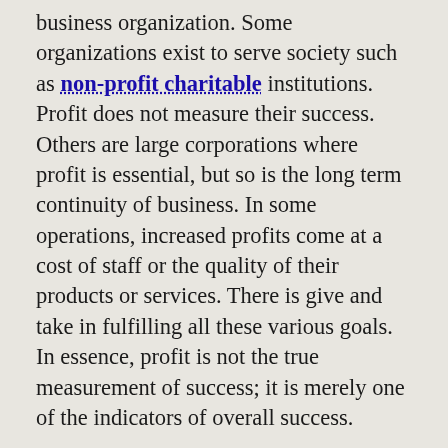business organization. Some organizations exist to serve society such as non-profit charitable institutions. Profit does not measure their success. Others are large corporations where profit is essential, but so is the long term continuity of business. In some operations, increased profits come at a cost of staff or the quality of their products or services. There is give and take in fulfilling all these various goals. In essence, profit is not the true measurement of success; it is merely one of the indicators of overall success.

In addition, profit is often sited based on an accounting cycle of some duration. A more astute businessman will desire to understand the trend of profit over several periods than to place absolute reliance on the current profit. In addition, several uncontrollable forces (economic conditions, change in demographics, weather, interest rates, etc.) can greatly